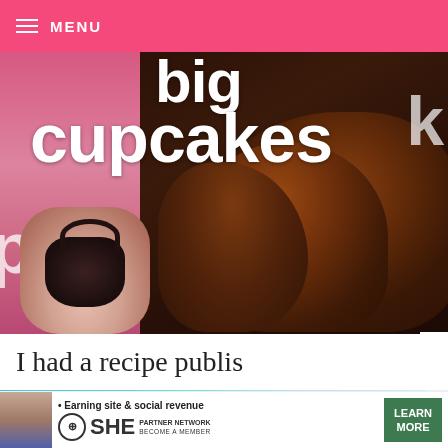≡ MENU
[Figure (photo): Photo of a book titled 'the big book of Cupcakes' with chocolate frosted cupcakes and a small decorative handbag cupcake visible]
I had a recipe publis of Cupcakes. Thank
[Figure (photo): Bottom portion of a Williams-Sonoma themed image on a teal/blue background]
[Figure (infographic): SHE Partner Network advertisement banner: 'Earning site & social revenue • SHE PARTNER NETWORK BECOME A MEMBER' with LEARN MORE button]